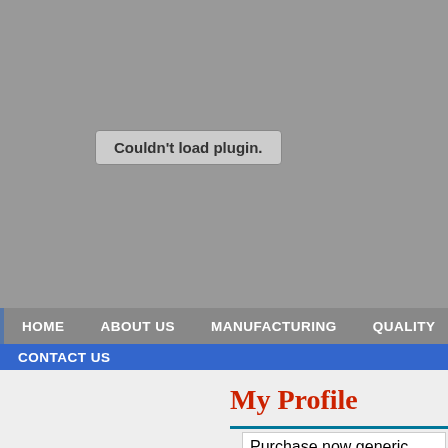[Figure (screenshot): Gray plugin placeholder area with 'Couldn't load plugin.' button]
HOME   ABOUT US   MANUFACTURING   QUALITY
CONTACT US
My Profile
Cecile51
Ul. Wojs
Kielce, N
Poland

51 948 68
Purchase now generic potassium